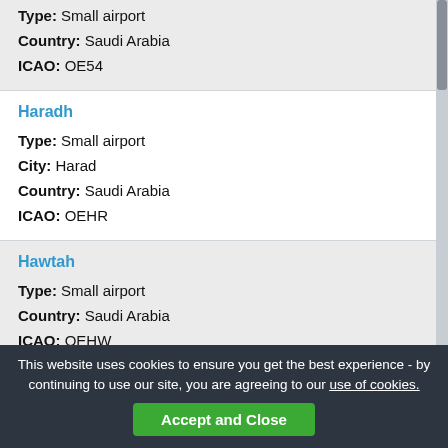Type: Small airport
Country: Saudi Arabia
ICAO: OE54
Haradh
Type: Small airport
City: Harad
Country: Saudi Arabia
ICAO: OEHR
Hawtah
Type: Small airport
Country: Saudi Arabia
ICAO: OEHW
Ipsa 3
Type: Small airport
Country: Saudi Arabia
ICAO: OEPK
Jizan Regional
This website uses cookies to ensure you get the best experience - by continuing to use our site, you are agreeing to our use of cookies.